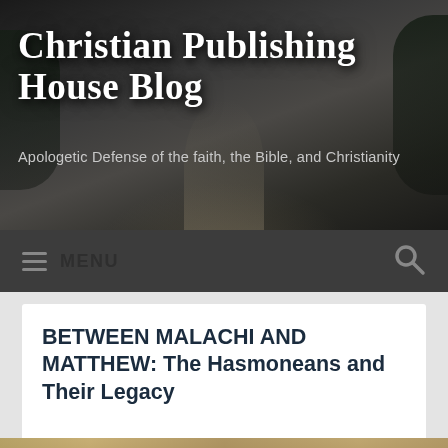Christian Publishing House Blog
Apologetic Defense of the faith, the Bible, and Christianity
[Figure (screenshot): Navigation bar with hamburger menu icon and MENU text on the left, search magnifier icon on the right, dark grey background]
BETWEEN MALACHI AND MATTHEW: The Hasmoneans and Their Legacy
[Figure (photo): Aerial illustration of ancient Jerusalem/Temple complex, showing large walled compound with colonnaded buildings, smoke rising, surrounding cityscape of densely packed stone buildings on hillside, painted in warm earth tones]